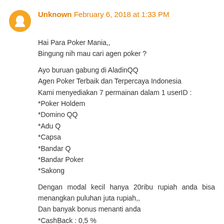Unknown February 6, 2018 at 1:33 PM
Hai Para Poker Mania,,
Bingung nih mau cari agen poker ?
Ayo buruan gabung di AladinQQ
Agen Poker Terbaik dan Terpercaya Indonesia
Kami menyediakan 7 permainan dalam 1 userID :
*Poker Holdem
*Domino QQ
*Adu Q
*Capsa
*Bandar Q
*Bandar Poker
*Sakong
Dengan modal kecil hanya 20ribu rupiah anda bisa menangkan puluhan juta rupiah,,
Dan banyak bonus menanti anda
*CashBack : 0,5 %
*Bonus Referal : 20% ( Seumur Hidup )